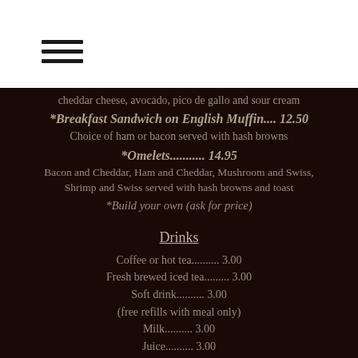[Figure (other): Hamburger menu icon (three horizontal lines)]
cheddar cheese, avocado, pico de gallo and sour cream
*Breakfast Sandwich on English Muffin.... 12.50
Choice of ham or bacon served with hash browns
*Omelets........... 14.95
Bacon and Cheddar, Ham and Cheddar, Mushroom and Swiss, Shrimp and Swiss served with hash browns and toast
*Build your own (ask for price)
Drinks
Coffee or hot tea.......... 3.00
Fresh brewed iced tea......... 3.00
Soft drink.......... 3.00
(free refills with meal only)
Milk.......... 3.00
Juice.......... 3.00
Bottled Beer......... 4.00 to 8.50
Domestic Draft Beers